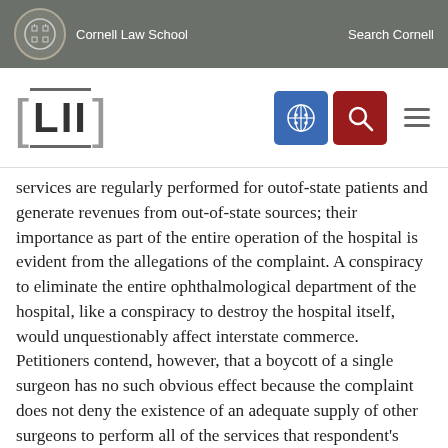Cornell Law School | Search Cornell
[Figure (logo): LII Legal Information Institute logo with Cornell Law School navigation bar including blue grid icon and red search icon]
services are regularly performed for outof-state patients and generate revenues from out-of-state sources; their importance as part of the entire operation of the hospital is evident from the allegations of the complaint. A conspiracy to eliminate the entire ophthalmological department of the hospital, like a conspiracy to destroy the hospital itself, would unquestionably affect interstate commerce. Petitioners contend, however, that a boycott of a single surgeon has no such obvious effect because the complaint does not deny the existence of an adequate supply of other surgeons to perform all of the services that respondent's current and future patients may ever